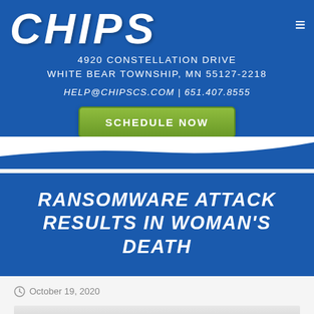[Figure (logo): CHIPS logo in large white italic bold text on blue background]
4920 CONSTELLATION DRIVE
WHITE BEAR TOWNSHIP, MN 55127-2218
HELP@CHIPSCS.COM | 651.407.8555
SCHEDULE NOW
RANSOMWARE ATTACK RESULTS IN WOMAN'S DEATH
October 19, 2020
[Figure (photo): Photo of a hospital corridor ceiling, partially visible at the bottom of the page]